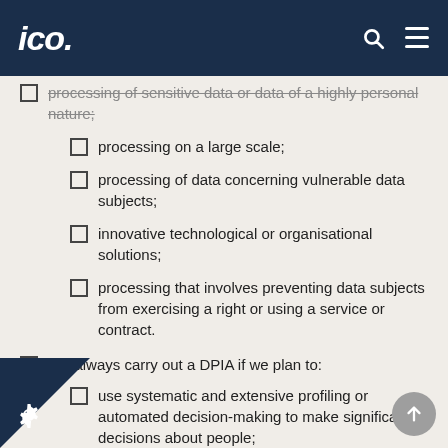ico.
processing of sensitive data or data of a highly personal nature;
processing on a large scale;
processing of data concerning vulnerable data subjects;
innovative technological or organisational solutions;
processing that involves preventing data subjects from exercising a right or using a service or contract.
We always carry out a DPIA if we plan to:
use systematic and extensive profiling or automated decision-making to make significant decisions about people;